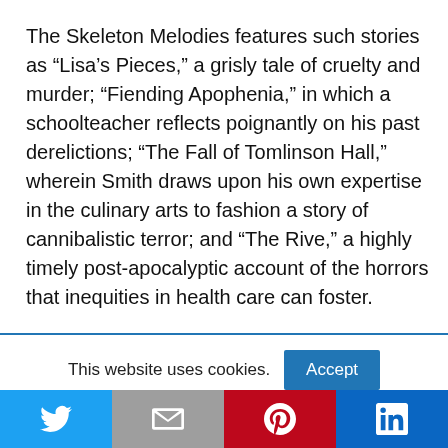The Skeleton Melodies features such stories as “Lisa’s Pieces,” a grisly tale of cruelty and murder; “Fiending Apophenia,” in which a schoolteacher reflects poignantly on his past derelictions; “The Fall of Tomlinson Hall,” wherein Smith draws upon his own expertise in the culinary arts to fashion a story of cannibalistic terror; and “The Rive,” a highly timely post-apocalyptic account of the horrors that inequities in health care can foster.
This website uses cookies.
[Figure (other): Social sharing bar with Twitter, Gmail, Pinterest, and LinkedIn icons]